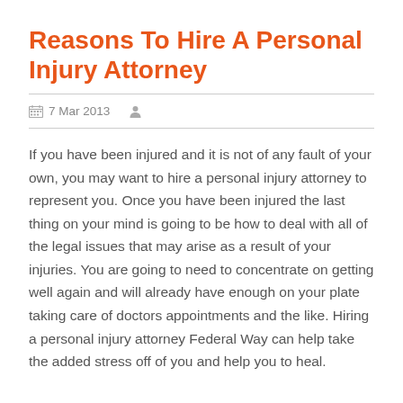Reasons To Hire A Personal Injury Attorney
7 Mar 2013
If you have been injured and it is not of any fault of your own, you may want to hire a personal injury attorney to represent you. Once you have been injured the last thing on your mind is going to be how to deal with all of the legal issues that may arise as a result of your injuries. You are going to need to concentrate on getting well again and will already have enough on your plate taking care of doctors appointments and the like. Hiring a personal injury attorney Federal Way can help take the added stress off of you and help you to heal.